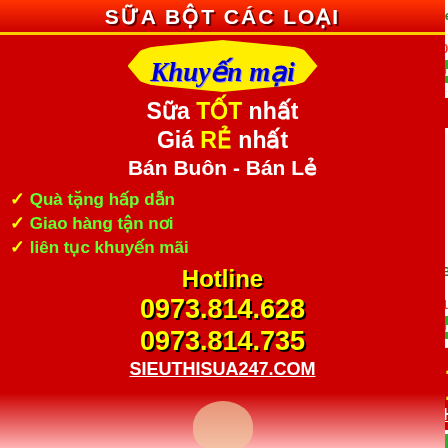[Figure (screenshot): E-commerce website screenshot showing baby formula products with promotional banner overlay on left side. Banner shows 'SUA BOT CAC LOAI', 'Khuyen mai', promotions, hotline numbers. Right side shows partial product listings for Hero Baby and Bột Hipp products with prices in VND.]
SỮA BỘT CÁC LOẠI
Khuyến mại
Sữa TỐT nhất
Giá RẺ nhất
Bán Buôn - Bán Lẻ
✓ Quà tặng hấp dẫn
✓ Giao hàng tận nơi
✓ liên tục khuyến mãi
Hotline
0973.814.628
0973.814.735
SIEUTHISUA247.COM
Hero Baby 6 tháng vị ngũ cốc trái cây
Giá bán: 103,000 VNĐ
Đặt mua
Tư vấn
Bột Hipp 8 tháng vị sữa - cà rốt
Giá bán: 110,000 VNĐ
Đặt mua
0979.400.626
0984.394.967
SIEUTHISUA247.COM
Hero B...
Giá bá...
Bột H...
Giá bá...
Bím - T...